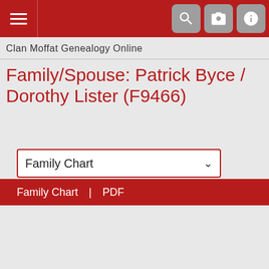Clan Moffat Genealogy Online
Family/Spouse: Patrick Byce / Dorothy Lister (F9466)
[Figure (screenshot): Dropdown menu selector showing 'Family Chart' option with down arrow]
Family Chart | PDF